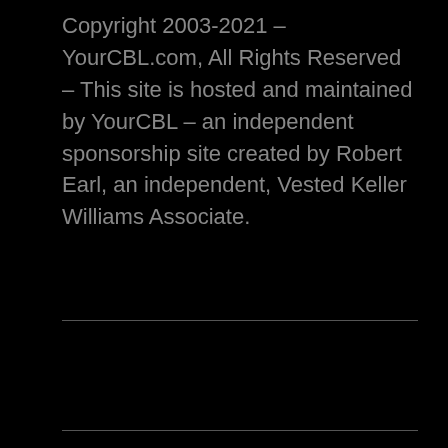Copyright 2003-2021 – YourCBL.com, All Rights Reserved – This site is hosted and maintained by YourCBL – an independent sponsorship site created by Robert Earl, an independent, Vested Keller Williams Associate.